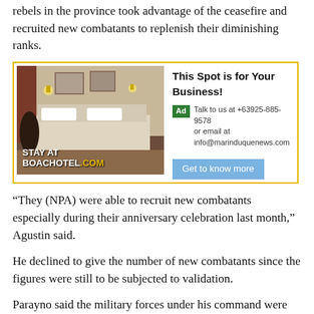rebels in the province took advantage of the ceasefire and recruited new combatants to replenish their diminishing ranks.
[Figure (screenshot): Advertisement for Boac Hotel with room image and business spot promotion. Yellow bordered ad with hotel room photo, text 'STAY AT BOACHOTEL.COM', and contact info 'Talk to us at +63925-885-9578 or email at info@marinduquenews.com' plus a 'Get to know more' button.]
“They (NPA) were able to recruit new combatants especially during their anniversary celebration last month,” Agustin said.
He declined to give the number of new combatants since the figures were still to be subjected to validation.
Parayno said the military forces under his command were ready to implement an all-out war against the rebels. “Our operations are ongoing,” he said.
Agustin told “peace loving people” of Quezon not to be afraid of the military in the resumption of the counter-insurgency campaign. He appealed to civilians and local and barangay